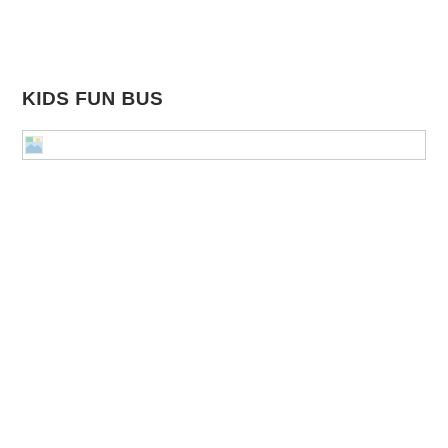KIDS FUN BUS
[Figure (illustration): Broken image placeholder — a wide horizontal image box with a small broken image icon in the top-left corner, indicating a missing or unloaded image.]